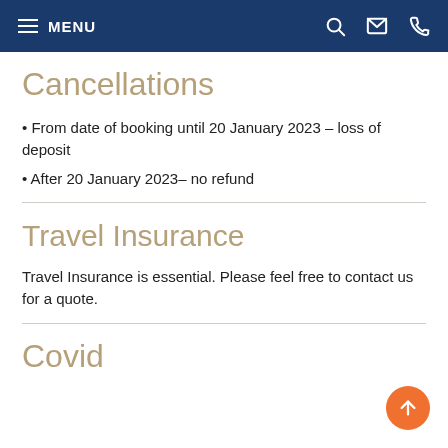MENU
Cancellations
From date of booking until 20 January 2023 – loss of deposit
After 20 January 2023– no refund
Travel Insurance
Travel Insurance is essential. Please feel free to contact us for a quote.
Covid